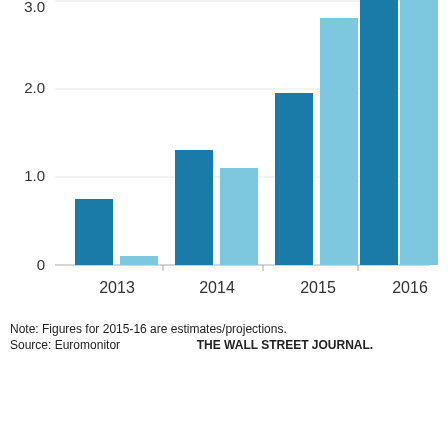[Figure (grouped-bar-chart): ]
Note: Figures for 2015-16 are estimates/projections.
Source: Euromonitor    THE WALL STREET JOURNAL.